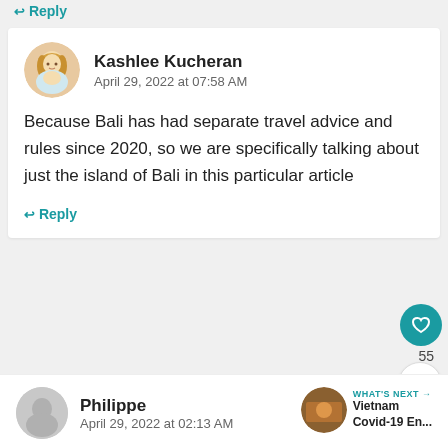↩ Reply
Kashlee Kucheran
April 29, 2022 at 07:58 AM
Because Bali has had separate travel advice and rules since 2020, so we are specifically talking about just the island of Bali in this particular article
↩ Reply
Philippe
April 29, 2022 at 02:13 AM
WHAT'S NEXT → Vietnam Covid-19 En...